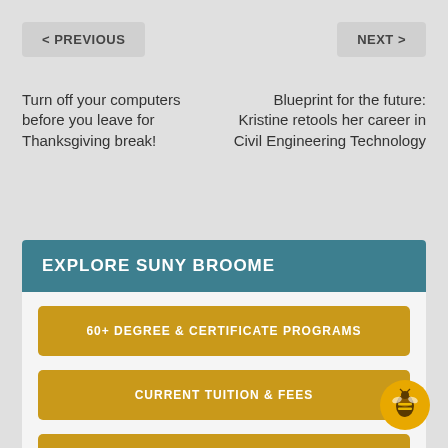< PREVIOUS
NEXT >
Turn off your computers before you leave for Thanksgiving break!
Blueprint for the future: Kristine retools her career in Civil Engineering Technology
EXPLORE SUNY BROOME
60+ DEGREE & CERTIFICATE PROGRAMS
CURRENT TUITION & FEES
TALK TO ADMISSIONS